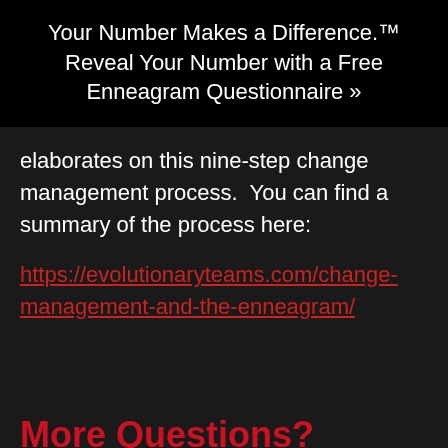Your Number Makes a Difference.™ Reveal Your Number with a Free Enneagram Questionnaire »
elaborates on this nine-step change management process.  You can find a summary of the process here:
https://evolutionaryteams.com/change-management-and-the-enneagram/
More Questions?
Please enter your question in the comment